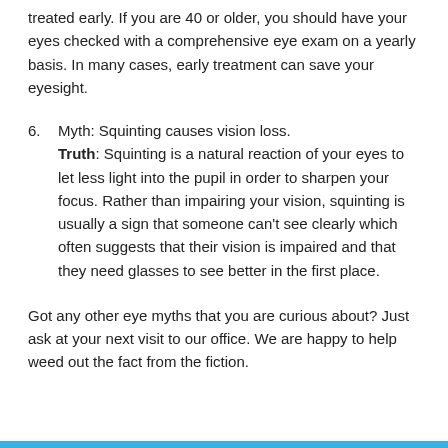treated early. If you are 40 or older, you should have your eyes checked with a comprehensive eye exam on a yearly basis. In many cases, early treatment can save your eyesight.
6. Myth: Squinting causes vision loss.
Truth: Squinting is a natural reaction of your eyes to let less light into the pupil in order to sharpen your focus. Rather than impairing your vision, squinting is usually a sign that someone can't see clearly which often suggests that their vision is impaired and that they need glasses to see better in the first place.
Got any other eye myths that you are curious about? Just ask at your next visit to our office. We are happy to help weed out the fact from the fiction.